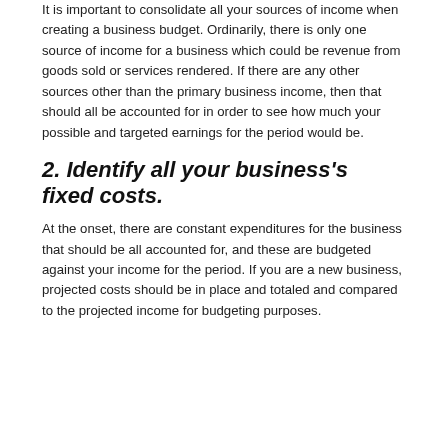It is important to consolidate all your sources of income when creating a business budget. Ordinarily, there is only one source of income for a business which could be revenue from goods sold or services rendered. If there are any other sources other than the primary business income, then that should all be accounted for in order to see how much your possible and targeted earnings for the period would be.
2. Identify all your business's fixed costs.
At the onset, there are constant expenditures for the business that should be all accounted for, and these are budgeted against your income for the period. If you are a new business, projected costs should be in place and totaled and compared to the projected income for budgeting purposes.